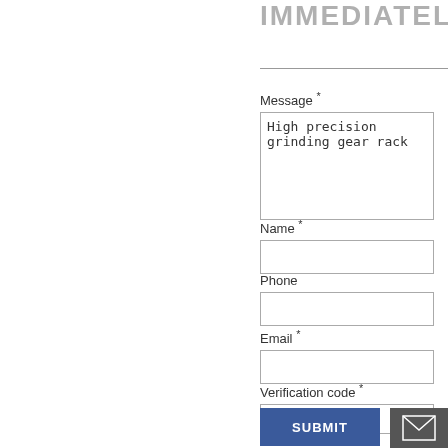IMMEDIATELY CO
Message *
High precision grinding gear rack
Name *
Phone
Email *
Verification code *
SUBMIT